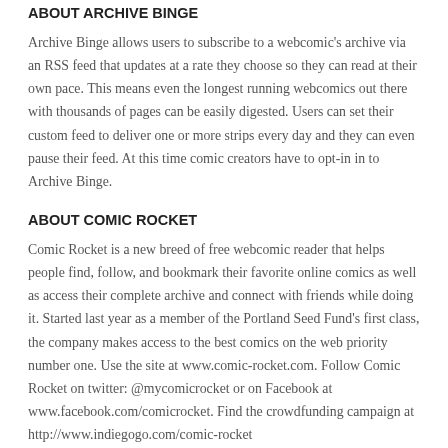ABOUT ARCHIVE BINGE
Archive Binge allows users to subscribe to a webcomic's archive via an RSS feed that updates at a rate they choose so they can read at their own pace. This means even the longest running webcomics out there with thousands of pages can be easily digested. Users can set their custom feed to deliver one or more strips every day and they can even pause their feed. At this time comic creators have to opt-in in to Archive Binge.
ABOUT COMIC ROCKET
Comic Rocket is a new breed of free webcomic reader that helps people find, follow, and bookmark their favorite online comics as well as access their complete archive and connect with friends while doing it. Started last year as a member of the Portland Seed Fund's first class, the company makes access to the best comics on the web priority number one. Use the site at www.comic-rocket.com. Follow Comic Rocket on twitter: @mycomicrocket or on Facebook at www.facebook.com/comicrocket. Find the crowdfunding campaign at http://www.indiegogo.com/comic-rocket